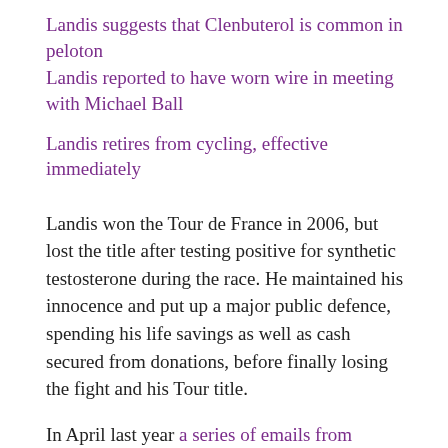Landis suggests that Clenbuterol is common in peloton
Landis reported to have worn wire in meeting with Michael Ball
Landis retires from cycling, effective immediately
Landis won the Tour de France in 2006, but lost the title after testing positive for synthetic testosterone during the race. He maintained his innocence and put up a major public defence, spending his life savings as well as cash secured from donations, before finally losing the fight and his Tour title.
In April last year a series of emails from Landis to various cycling authorities and media outlets were published in which he appeared as the whistle blower of a set of major drug scandals and cover-ups